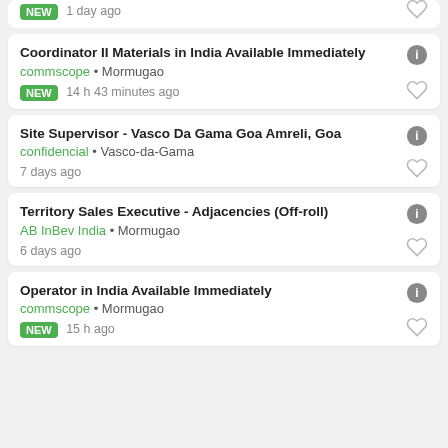NEW 1 day ago
Coordinator II Materials in India Available Immediately
commscope • Mormugao
NEW 14 h 43 minutes ago
Site Supervisor - Vasco Da Gama Goa Amreli, Goa
confidencial • Vasco-da-Gama
7 days ago
Territory Sales Executive - Adjacencies (Off-roll)
AB InBev India • Mormugao
6 days ago
Operator in India Available Immediately
commscope • Mormugao
NEW 15 h ago